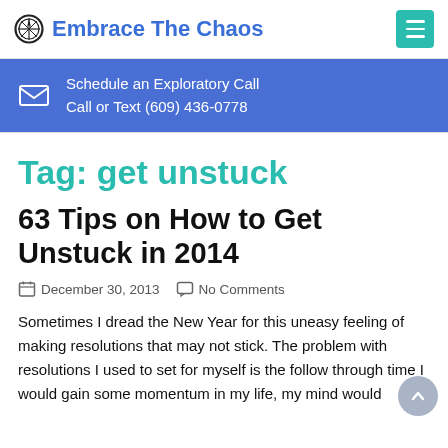Embrace The Chaos
Schedule an Exploratory Call
Call or Text (609) 436-0778
Tag: get unstuck
63 Tips on How to Get Unstuck in 2014
December 30, 2013   No Comments
Sometimes I dread the New Year for this uneasy feeling of making resolutions that may not stick. The problem with resolutions I used to set for myself is the follow through time I would gain some momentum in my life, my mind would